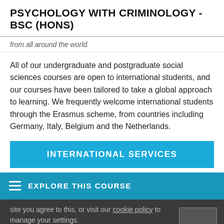PSYCHOLOGY WITH CRIMINOLOGY - BSC (HONS)
from all around the world.
All of our undergraduate and postgraduate social sciences courses are open to international students, and our courses have been tailored to take a global approach to learning. We frequently welcome international students through the Erasmus scheme, from countries including Germany, Italy, Belgium and the Netherlands.
INTERNATIONAL SERVICES
EXPLORE THIS COURSE
site you agree to this, or visit our cookie policy to manage your settings.